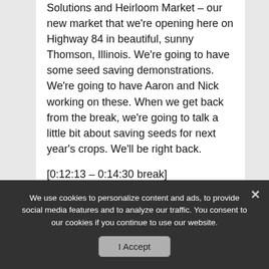Solutions and Heirloom Market – our new market that we're opening here on Highway 84 in beautiful, sunny Thomson, Illinois. We're going to have some seed saving demonstrations. We're going to have Aaron and Nick working on these. When we get back from the break, we're going to talk a little bit about saving seeds for next year's crops. We'll be right back.
[0:12:13 – 0:14:30 break]
Bill: We are back with different paradigms today. We've got Aaron Whaley one of our seed buyers, and our own Nick Huizenga here – talking about fall gardening. We're also going to talk about seed saving. Let's talk...
We use cookies to personalize content and ads, to provide social media features and to analyze our traffic. You consent to our cookies if you continue to use our website.